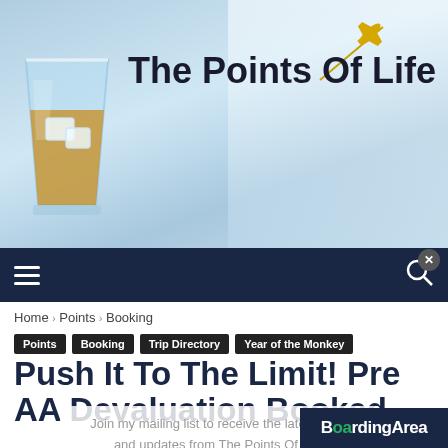[Figure (logo): The Points Of Life blog logo with whisky glass, airplane icon, and bold site title text on light blue airport background]
The Points Of Life
Home › Points › Booking
Points | Booking | Trip Directory | Year of the Monkey
Push It To The Limit! Pre AA Devaluation Booked
By thepointsoflife - March 13, 2016  💬 2
If you're a nerd like me then you are enjoying the posts about booking a flight to and from Asia before the AA devaluation. If you aren't enjoying these posts, then ther